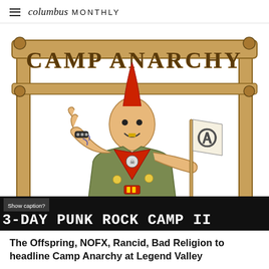columbus MONTHLY
[Figure (illustration): Illustrated punk rock character with red mohawk, tattoos, scout-style vest, red neckerchief, and anarchy flag, standing under a wooden sign reading 'CAMP ANARCHY'. Overlaid at the bottom is a stylized banner reading '3-DAY PUNK ROCK CAMP II' with 'Show caption?' text.]
The Offspring, NOFX, Rancid, Bad Religion to headline Camp Anarchy at Legend Valley